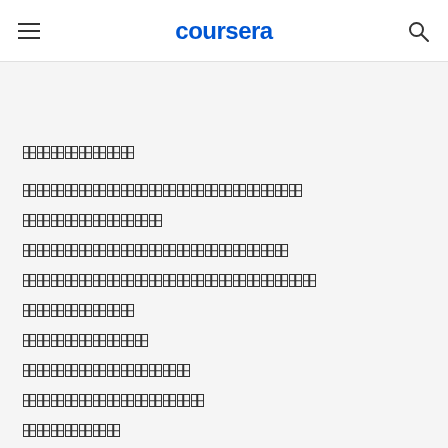coursera
████████
████████████████████
██████████
███████████████████
█████████████████████
████████
█████████
████████████
█████████████
███████
██████████████████